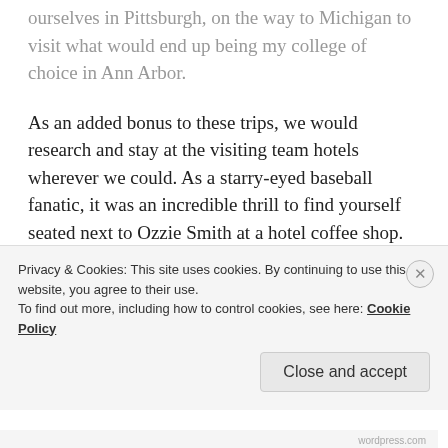ourselves in Pittsburgh, on the way to Michigan to visit what would end up being my college of choice in Ann Arbor.
As an added bonus to these trips, we would research and stay at the visiting team hotels wherever we could. As a starry-eyed baseball fanatic, it was an incredible thrill to find yourself seated next to Ozzie Smith at a hotel coffee shop.
The city of Pittsburgh is much different today. Three [Rivers Stadium has since been demolished...]
Privacy & Cookies: This site uses cookies. By continuing to use this website, you agree to their use. To find out more, including how to control cookies, see here: Cookie Policy